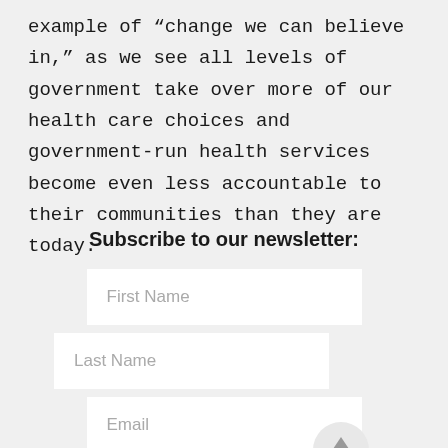example of “change we can believe in,” as we see all levels of government take over more of our health care choices and government-run health services become even less accountable to their communities than they are today.
Subscribe to our newsletter:
First Name
Last Name
Email